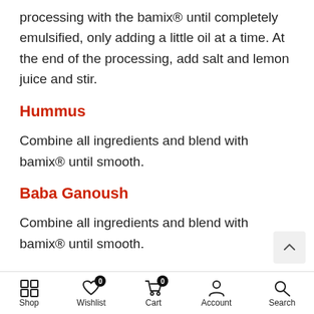processing with the bamix® until completely emulsified, only adding a little oil at a time. At the end of the processing, add salt and lemon juice and stir.
Hummus
Combine all ingredients and blend with bamix® until smooth.
Baba Ganoush
Combine all ingredients and blend with bamix® until smooth.
Shop  Wishlist  Cart  Account  Search